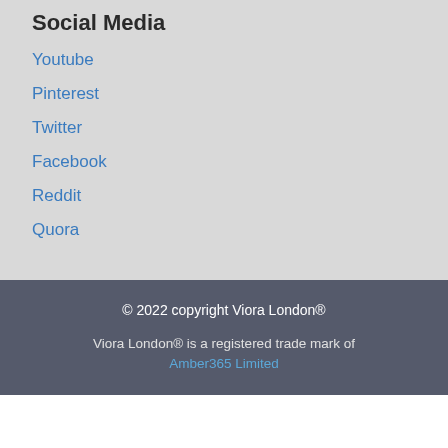Social Media
Youtube
Pinterest
Twitter
Facebook
Reddit
Quora
© 2022 copyright Viora London®
Viora London® is a registered trade mark of Amber365 Limited